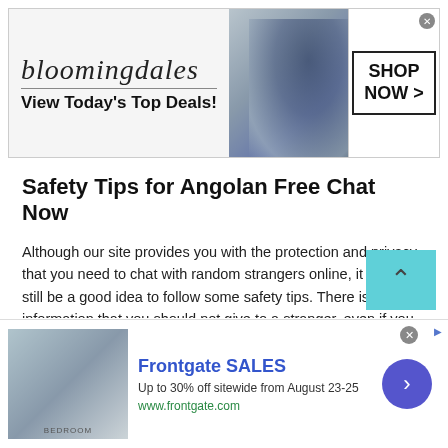[Figure (other): Bloomingdales advertisement banner: logo with italic text 'bloomingdales', tagline 'View Today's Top Deals!', photo of woman in wide-brim hat, 'SHOP NOW >' button in box]
Safety Tips for Angolan Free Chat Now
Although our site provides you with the protection and privacy that you need to chat with random strangers online, it might still be a good idea to follow some safety tips. There is certain information that you should not give to a stranger, even if you are on a secure platform like our website:
Your real name
[Figure (other): Frontgate SALES advertisement: bedroom photo, bold blue 'Frontgate SALES' text, 'Up to 30% off sitewide from August 23-25', 'www.frontgate.com', blue circular arrow button]